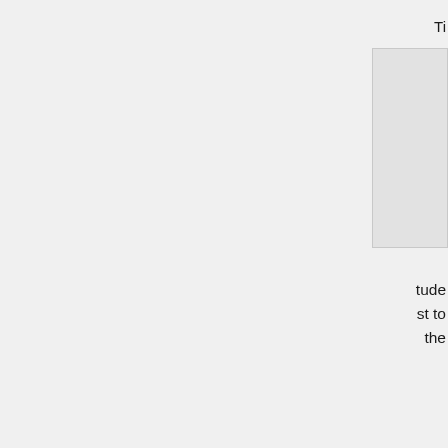[Figure (other): Partial figure or table visible at top-right corner of page, cropped]
tude
st to
the
has
 50
and
the
and
e is
ssor